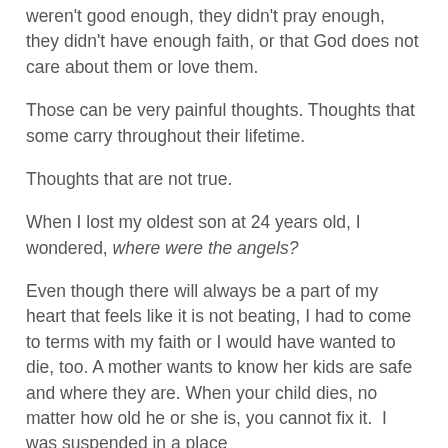weren't good enough, they didn't pray enough, they didn't have enough faith, or that God does not care about them or love them.
Those can be very painful thoughts. Thoughts that some carry throughout their lifetime.
Thoughts that are not true.
When I lost my oldest son at 24 years old, I wondered, where were the angels?
Even though there will always be a part of my heart that feels like it is not beating, I had to come to terms with my faith or I would have wanted to die, too. A mother wants to know her kids are safe and where they are. When your child dies, no matter how old he or she is, you cannot fix it.  I was suspended in a place